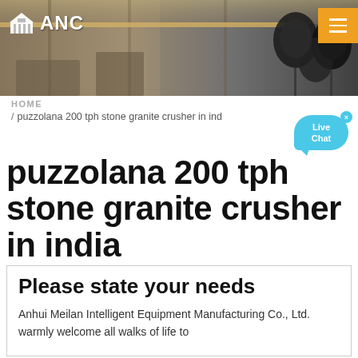[Figure (photo): Industrial factory interior with overhead cranes and microphones/equipment in the foreground, serving as website header banner]
ANC
HOME / puzzolana 200 tph stone granite crusher in india
puzzolana 200 tph stone granite crusher in india
Please state your needs
Anhui Meilan Intelligent Equipment Manufacturing Co., Ltd. warmly welcome all walks of life to